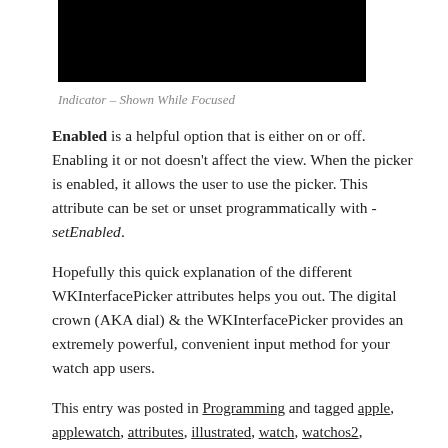[Figure (photo): Black rectangle representing a screenshot of Indicator Shown While Focused]
Indicator – Shown While Focused
Enabled is a helpful option that is either on or off. Enabling it or not doesn't affect the view. When the picker is enabled, it allows the user to use the picker. This attribute can be set or unset programmatically with -setEnabled.
Hopefully this quick explanation of the different WKInterfacePicker attributes helps you out. The digital crown (AKA dial) & the WKInterfacePicker provides an extremely powerful, convenient input method for your watch app users.
This entry was posted in Programming and tagged apple, applewatch, attributes, illustrated, watch, watchos2, WKInterfacePicker on September 20, 2015.